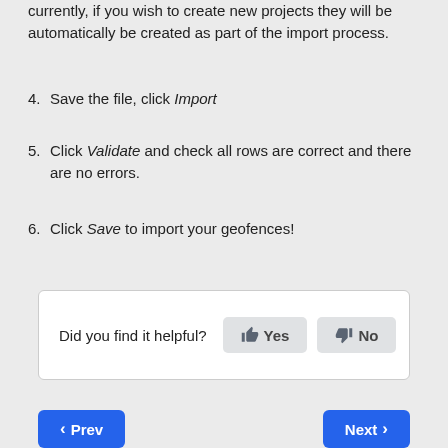currently, if you wish to create new projects they will be automatically be created as part of the import process.
4. Save the file, click Import
5. Click Validate and check all rows are correct and there are no errors.
6. Click Save to import your geofences!
Did you find it helpful? Yes No
< Prev    Next >